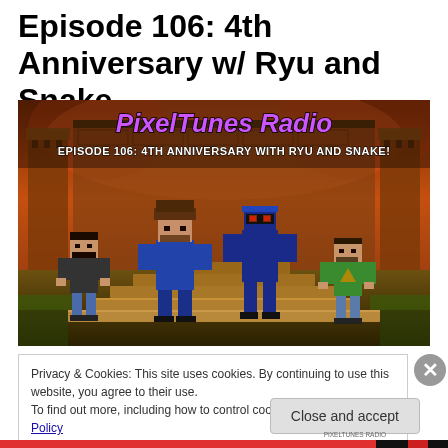Episode 106: 4th Anniversary w/ Ryu and Snake
[Figure (illustration): PixelTunes Radio podcast episode artwork showing pixel-art characters including Snake from Metal Gear and Ryu from Ninja Gaiden standing on stone steps with a temple background. Text overlay reads 'PixelTunes Radio Episode 106: 4th Anniversary with Ryu and Snake!']
Privacy & Cookies: This site uses cookies. By continuing to use this website, you agree to their use.
To find out more, including how to control cookies, see here: Cookie Policy